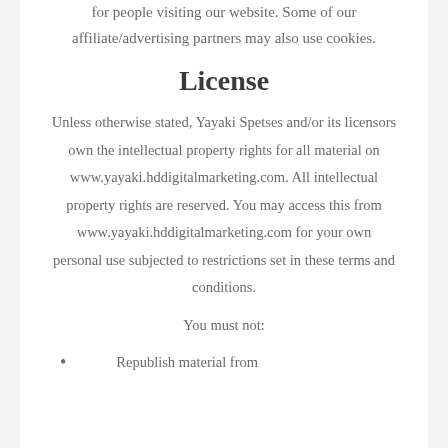for people visiting our website. Some of our affiliate/advertising partners may also use cookies.
License
Unless otherwise stated, Yayaki Spetses and/or its licensors own the intellectual property rights for all material on www.yayaki.hddigitalmarketing.com. All intellectual property rights are reserved. You may access this from www.yayaki.hddigitalmarketing.com for your own personal use subjected to restrictions set in these terms and conditions.
You must not:
Republish material from